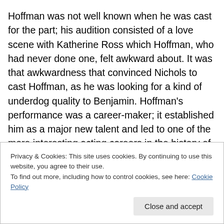Hoffman was not well known when he was cast for the part; his audition consisted of a love scene with Katherine Ross which Hoffman, who had never done one, felt awkward about. It was that awkwardness that convinced Nichols to cast Hoffman, as he was looking for a kind of underdog quality to Benjamin. Hoffman's performance was a career-maker; it established him as a major new talent and led to one of the more interesting acting careers in the history of Hollywood. Bancroft also turbo-charged her own career, playing an older woman even though she was merely 35 at the time. Her performance here is considered
Privacy & Cookies: This site uses cookies. By continuing to use this website, you agree to their use.
To find out more, including how to control cookies, see here: Cookie Policy
Close and accept